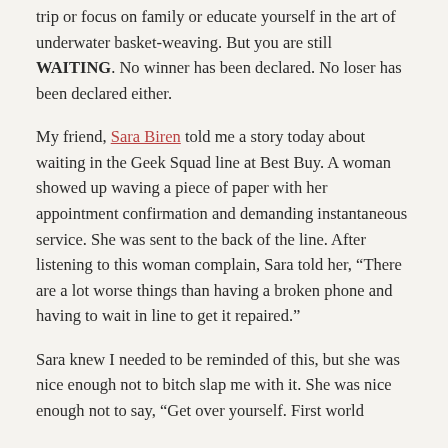trip or focus on family or educate yourself in the art of underwater basket-weaving. But you are still WAITING. No winner has been declared. No loser has been declared either.
My friend, Sara Biren told me a story today about waiting in the Geek Squad line at Best Buy. A woman showed up waving a piece of paper with her appointment confirmation and demanding instantaneous service. She was sent to the back of the line. After listening to this woman complain, Sara told her, “There are a lot worse things than having a broken phone and having to wait in line to get it repaired.”
Sara knew I needed to be reminded of this, but she was nice enough not to bitch slap me with it. She was nice enough not to say, “Get over yourself. First world problems?” She had been in the About Waiting...